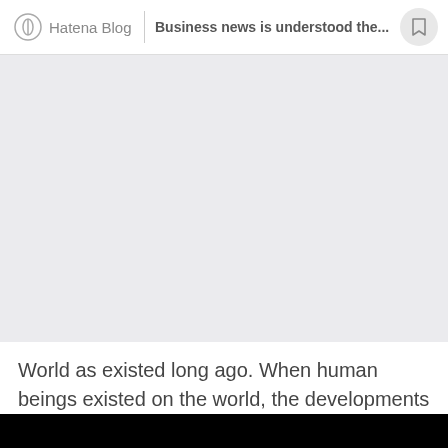Hatena Blog | Business news is understood the...
[Figure (other): Large light gray rectangular image placeholder area]
World as existed long ago. When human beings existed on the world, the developments and growth is running more rapidly and fastly. In the old days people were not